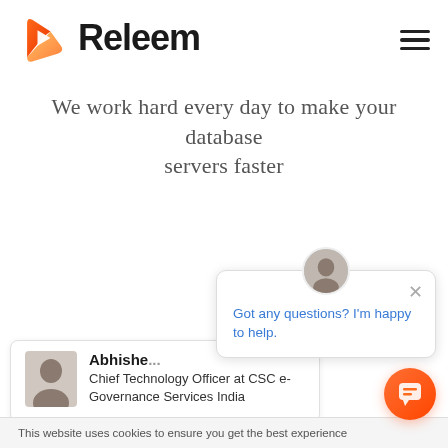[Figure (logo): Releem logo: orange/red angular play-button icon with the text 'Releem' in bold black, and a hamburger menu icon on the right]
We work hard every day to make your database servers faster
[Figure (screenshot): Live chat popup with an avatar photo of a man, a close button, and the message 'Got any questions? I'm happy to help.' in blue text]
[Figure (screenshot): Testimonial card showing a photo of a person, name 'Abhishe...' (Abhishek), title 'Chief Technology Officer at CSC e-Governance Services India']
This website uses cookies to ensure you get the best experience